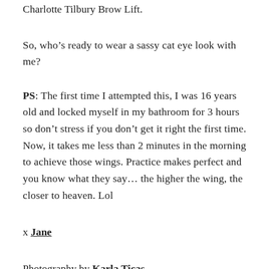Charlotte Tilbury Brow Lift.
So, who’s ready to wear a sassy cat eye look with me?
PS: The first time I attempted this, I was 16 years old and locked myself in my bathroom for 3 hours so don’t stress if you don’t get it right the first time. Now, it takes me less than 2 minutes in the morning to achieve those wings. Practice makes perfect and you know what they say… the higher the wing, the closer to heaven. Lol
x Jane
Photography by Karla Ticas